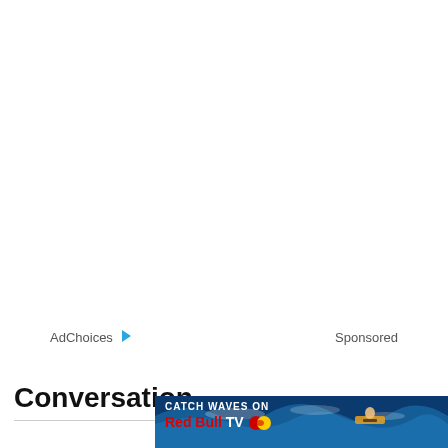AdChoices ▷   Sponsored
Conversation
[Figure (illustration): Red Bull TV advertisement banner showing a surfer riding a wave with text 'CATCH WAVES ON Red Bull TV' and the Red Bull logo]